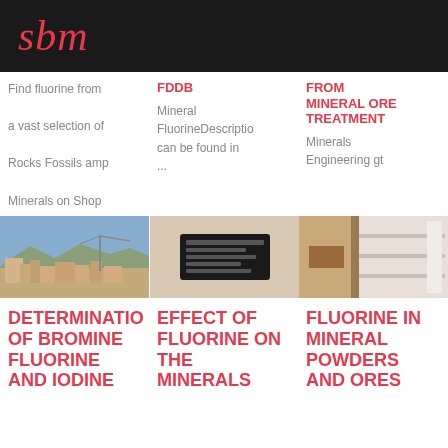SBM
Find fluorine from a vast selection of Rocks Fossils amp Minerals on Shop
FDDB
Mineral FluorineDescription can be found in ...
FROM MINERAL ORE TREATMENT
Minerals Engineering gt
[Figure (photo): Aerial view of a mining facility with cranes and industrial buildings against a mountain backdrop]
[Figure (photo): Close-up of a black metal plate or label with text markings on a pale surface]
[Figure (photo): Industrial metal cabinet or container with shelves, partially open]
DETERMINATION OF BROMINE FLUORINE AND IODINE
EFFECT OF FLUORINE ON THE MINERALS
FLUORINE IN MINERAL POWDERS AND ORES